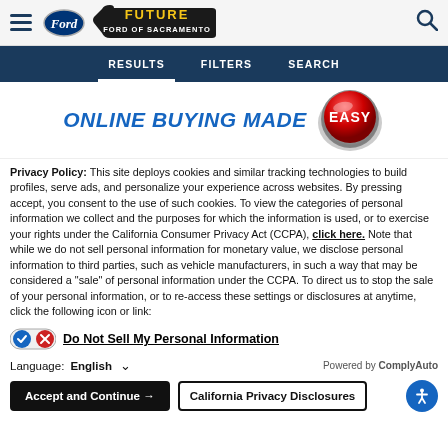[Figure (logo): Future Ford of Sacramento logo with Ford oval badge, hamburger menu icon, and search icon in header bar]
RESULTS   FILTERS   SEARCH
[Figure (illustration): Online buying made easy banner with blue italic bold text 'ONLINE BUYING MADE' and a red glossy button with white text 'EASY']
Privacy Policy: This site deploys cookies and similar tracking technologies to build profiles, serve ads, and personalize your experience across websites. By pressing accept, you consent to the use of such cookies. To view the categories of personal information we collect and the purposes for which the information is used, or to exercise your rights under the California Consumer Privacy Act (CCPA), click here. Note that while we do not sell personal information for monetary value, we disclose personal information to third parties, such as vehicle manufacturers, in such a way that may be considered a "sale" of personal information under the CCPA. To direct us to stop the sale of your personal information, or to re-access these settings or disclosures at anytime, click the following icon or link:
Do Not Sell My Personal Information
Language: English   Powered by ComplyAuto
Accept and Continue →   California Privacy Disclosures